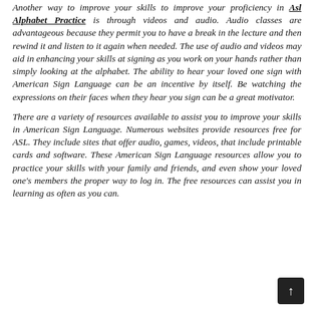Another way to improve your skills to improve your proficiency in Asl Alphabet Practice is through videos and audio. Audio classes are advantageous because they permit you to have a break in the lecture and then rewind it and listen to it again when needed. The use of audio and videos may aid in enhancing your skills at signing as you work on your hands rather than simply looking at the alphabet. The ability to hear your loved one sign with American Sign Language can be an incentive by itself. Be watching the expressions on their faces when they hear you sign can be a great motivator.
There are a variety of resources available to assist you to improve your skills in American Sign Language. Numerous websites provide resources free for ASL. They include sites that offer audio, games, videos, that include printable cards and software. These American Sign Language resources allow you to practice your skills with your family and friends, and even show your loved one's members the proper way to log in. The free resources can assist you in learning as often as you can.